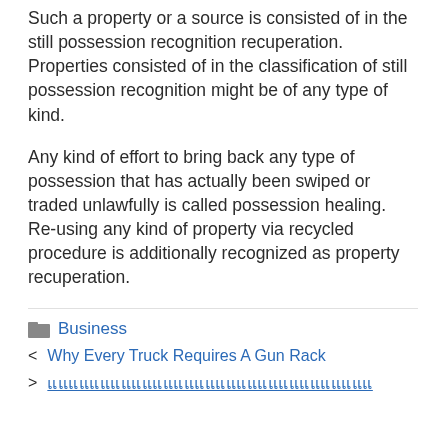Such a property or a source is consisted of in the still possession recognition recuperation. Properties consisted of in the classification of still possession recognition might be of any type of kind.
Any kind of effort to bring back any type of possession that has actually been swiped or traded unlawfully is called possession healing. Re-using any kind of property via recycled procedure is additionally recognized as property recuperation.
Business
Why Every Truck Requires A Gun Rack
▯▯▯▯▯▯▯▯▯▯▯▯▯▯▯▯▯▯▯▯▯▯▯▯▯▯▯▯▯▯▯